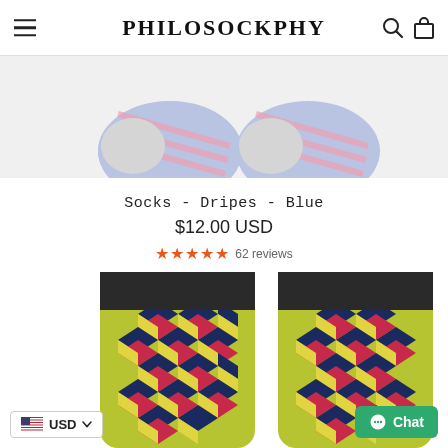PHILOSOCKPHY
[Figure (photo): Top portion of two blue socks with diagonal pink stripes on a light background, cropped showing the foot area]
Socks - Dripes - Blue
$12.00 USD
★★★★★ 62 reviews
[Figure (photo): Two colorful socks with a geometric 3D cube pattern in yellow-green, magenta/pink, and dark navy blue, with black cuffs at top]